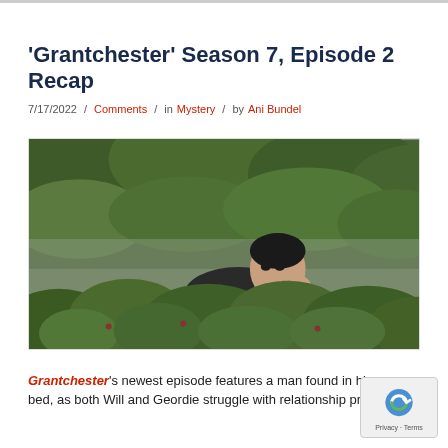'Grantchester' Season 7, Episode 2 Recap
7/17/2022 / Comments / in Mystery / by Ani Bundel
[Figure (photo): A man peering over a garden hedge with his hand covering his mouth, looking surprised or alarmed, with green leafy bushes in the foreground and background.]
Grantchester's newest episode features a man found in his own bed, as both Will and Geordie struggle with relationship problems.